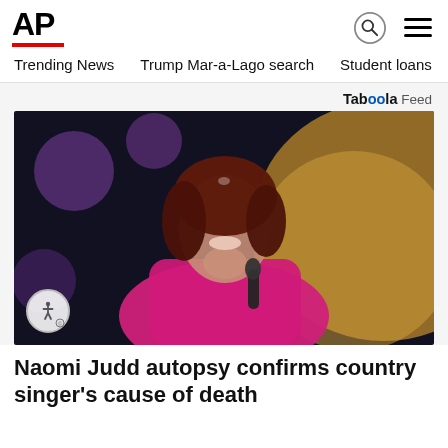AP
Trending News   Trump Mar-a-Lago search   Student loans   U.S.
Taboola Feed
[Figure (photo): A woman with auburn hair wearing a pink satin blazer, smiling and holding a microphone on a stage with purple and gold bokeh lights in the background. An accessibility icon button is overlaid in the bottom-left corner.]
Naomi Judd autopsy confirms country singer’s cause of death